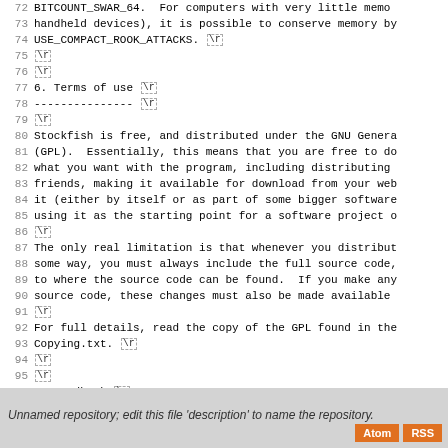72 BITCOUNT_SWAR_64.  For computers with very little memo
73 handheld devices), it is possible to conserve memory by
74 USE_COMPACT_ROOK_ATTACKS. \r
75 \r
76 \r
77 6. Terms of use \r
78 --------------- \r
79 \r
80 Stockfish is free, and distributed under the GNU Genera
81 (GPL).  Essentially, this means that you are free to do
82 what you want with the program, including distributing
83 friends, making it available for download from your web
84 it (either by itself or as part of some bigger software
85 using it as the starting point for a software project o
86 \r
87 The only real limitation is that whenever you distribut
88 some way, you must always include the full source code,
89 to where the source code can be found.  If you make any
90 source code, these changes must also be made available
91 \r
92 For full details, read the copy of the GPL found in the
93 Copying.txt. \r
94 \r
95 \r
96 7. Feedback \r
97 ----------- \r
98 \r
99 The author's e-mail address is mcostalba@gmail.com \r
Unnamed repository; edit this file 'description' to name the repository.